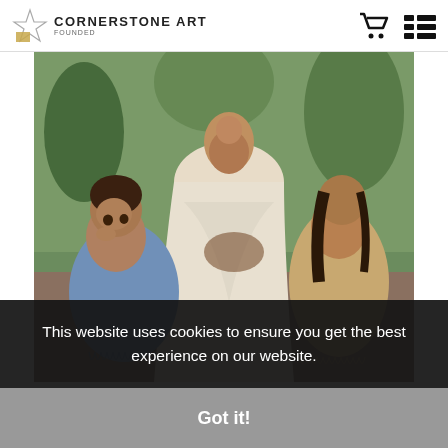Cornerstone Art
[Figure (illustration): Painting of Jesus Christ sitting with children around him — a young girl in blue on the left leaning on her hand, a child sitting on Jesus's lap, and a girl in tan/yellow on the right. Tropical/natural background with plants.]
This website uses cookies to ensure you get the best experience on our website.
Got it!